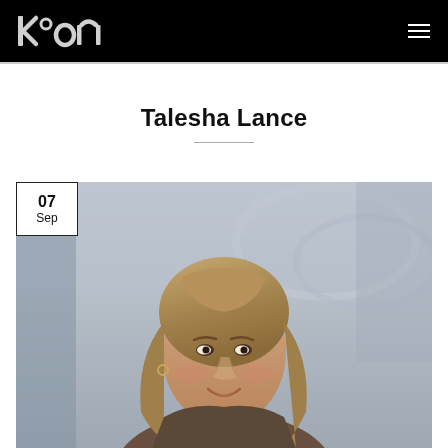Kon — navigation header with logo and menu
Talesha Lance
[Figure (photo): Portrait photo of a young woman with long blonde-brown hair smiling, photographed outdoors in an urban setting with architectural elements in the background. Date badge overlay showing 07 Sep in top-left corner.]